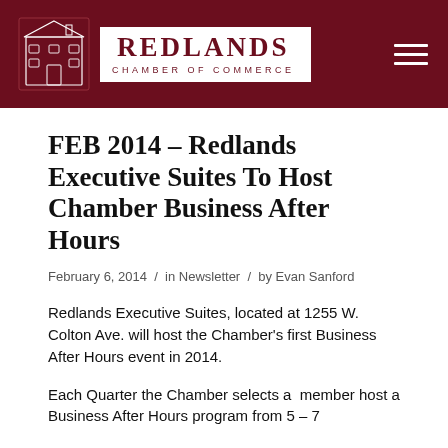REDLANDS CHAMBER OF COMMERCE
FEB 2014 – Redlands Executive Suites To Host Chamber Business After Hours
February 6, 2014  /  in Newsletter  /  by Evan Sanford
Redlands Executive Suites, located at 1255 W. Colton Ave. will host the Chamber's first Business After Hours event in 2014.
Each Quarter the Chamber selects a  member host a Business After Hours program from 5 – 7 P.t.d.